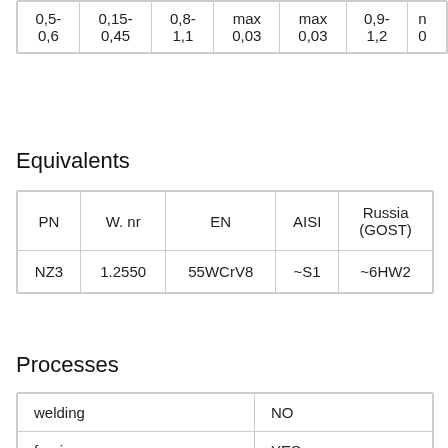| 0,5-
0,6 | 0,15-
0,45 | 0,8-
1,1 | max
0,03 | max
0,03 | 0,9-
1,2 | n
0 |
Equivalents
| PN | W. nr | EN | AISI | Russia
(GOST) |
| --- | --- | --- | --- | --- |
| NZ3 | 1.2550 | 55WCrV8 | ~S1 | ~6HW2 |
Processes
| welding | NO |
| forging | YES |